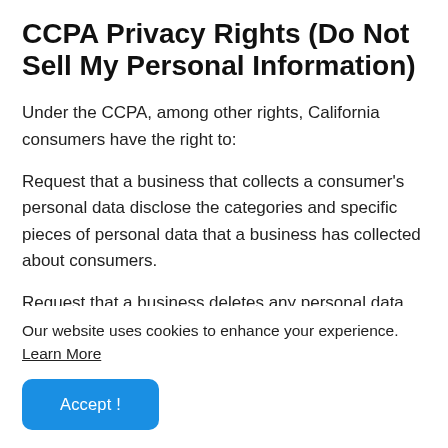CCPA Privacy Rights (Do Not Sell My Personal Information)
Under the CCPA, among other rights, California consumers have the right to:
Request that a business that collects a consumer's personal data disclose the categories and specific pieces of personal data that a business has collected about consumers.
Request that a business deletes any personal data about the consumer that a business has collected.
Request that a business that sells a consumer's personal data...
Our website uses cookies to enhance your experience. Learn More
Accept!